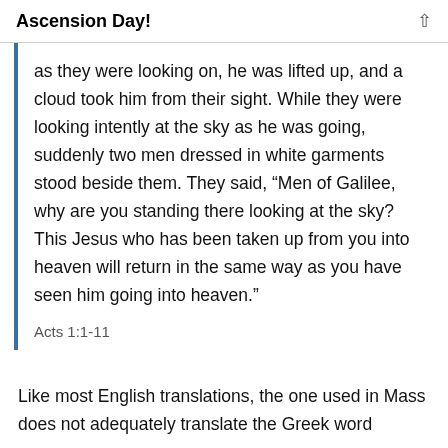Ascension Day!
as they were looking on, he was lifted up, and a cloud took him from their sight. While they were looking intently at the sky as he was going, suddenly two men dressed in white garments stood beside them. They said, “Men of Galilee, why are you standing there looking at the sky? This Jesus who has been taken up from you into heaven will return in the same way as you have seen him going into heaven.”
Acts 1:1-11
Like most English translations, the one used in Mass does not adequately translate the Greek word